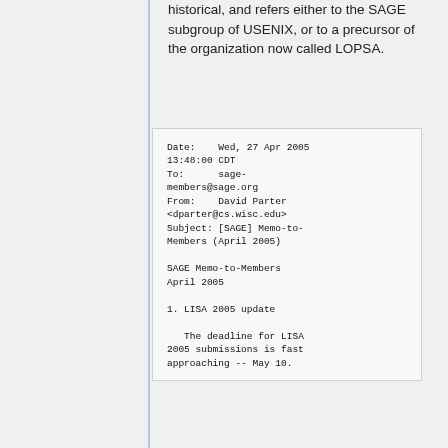historical, and refers either to the SAGE subgroup of USENIX, or to a precursor of the organization now called LOPSA.
Date:    Wed, 27 Apr 2005 13:48:00 CDT
To:      sage-members@sage.org
From:    David Parter <dparter@cs.wisc.edu>
Subject: [SAGE] Memo-to-Members (April 2005)

SAGE Memo-to-Members
April 2005

1. LISA 2005 update

   The deadline for LISA 2005 submissions is fast approaching -- May 10.